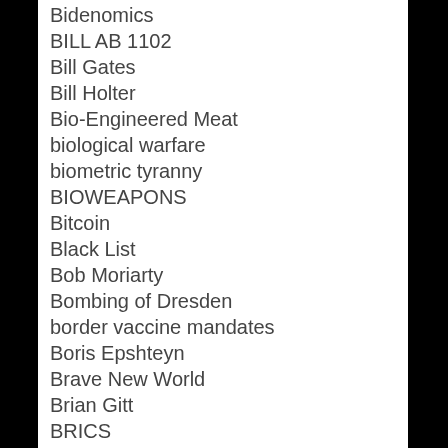Bidenomics
BILL AB 1102
Bill Gates
Bill Holter
Bio-Engineered Meat
biological warfare
biometric tyranny
BIOWEAPONS
Bitcoin
Black List
Bob Moriarty
Bombing of Dresden
border vaccine mandates
Boris Epshteyn
Brave New World
Brian Gitt
BRICS
Build Back Better
CA AB5 – Truckers
CA Prop 47
California State Bankrupt